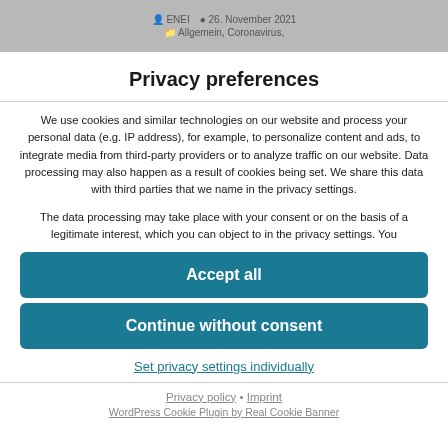ENEI  26. November 2021  Allgemein, Coronavirus,
Privacy preferences
We use cookies and similar technologies on our website and process your personal data (e.g. IP address), for example, to personalize content and ads, to integrate media from third-party providers or to analyze traffic on our website. Data processing may also happen as a result of cookies being set. We share this data with third parties that we name in the privacy settings.
The data processing may take place with your consent or on the basis of a legitimate interest, which you can object to in the privacy settings. You
Accept all
Continue without consent
Set privacy settings individually
Privacy policy • Imprint  WordPress Cookie Plugin by Real Cookie Banner